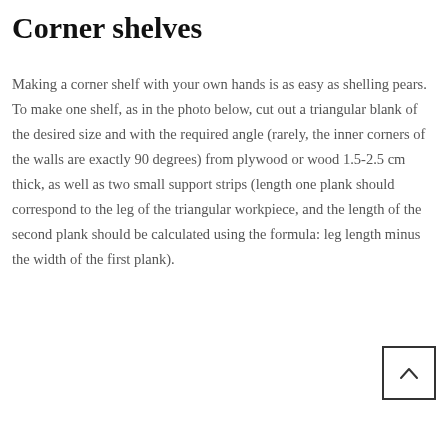Corner shelves
Making a corner shelf with your own hands is as easy as shelling pears. To make one shelf, as in the photo below, cut out a triangular blank of the desired size and with the required angle (rarely, the inner corners of the walls are exactly 90 degrees) from plywood or wood 1.5-2.5 cm thick, as well as two small support strips (length one plank should correspond to the leg of the triangular workpiece, and the length of the second plank should be calculated using the formula: leg length minus the width of the first plank).
[Figure (other): Navigation button with upward-pointing chevron arrow inside a square border]